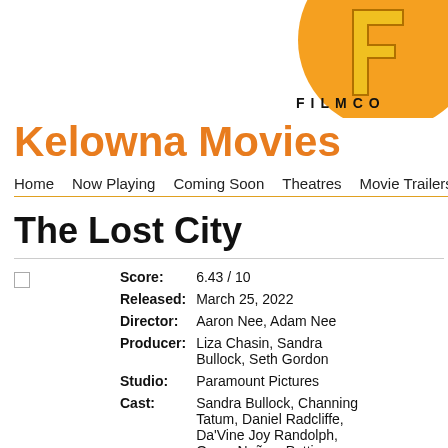[Figure (logo): Filmclub/Filmco logo — orange circle with stylized yellow F letterform and 'FILMCO' text in bold black, partially cropped at top-right corner]
Kelowna Movies
Home   Now Playing   Coming Soon   Theatres   Movie Trailers   Change
The Lost City
| Field | Value |
| --- | --- |
| Score: | 6.43 / 10 |
| Released: | March 25, 2022 |
| Director: | Aaron Nee, Adam Nee |
| Producer: | Liza Chasin, Sandra Bullock, Seth Gordon |
| Studio: | Paramount Pictures |
| Cast: | Sandra Bullock, Channing Tatum, Daniel Radcliffe, Da'Vine Joy Randolph, Oscar Nuñez, Patti Harrison, Raymond Lee, Ines Sastre, Kenneth |